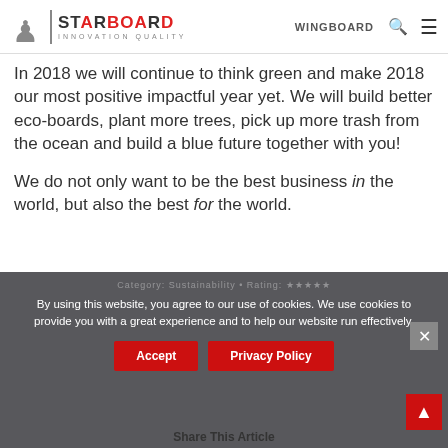[Figure (logo): Starboard Innovation Quality logo with red and grey text and a small figure icon]
In 2018 we will continue to think green and make 2018 our most positive impactful year yet. We will build better eco-boards, plant more trees, pick up more trash from the ocean and build a blue future together with you!
We do not only want to be the best business in the world, but also the best for the world.
By using this website, you agree to our use of cookies. We use cookies to provide you with a great experience and to help our website run effectively.